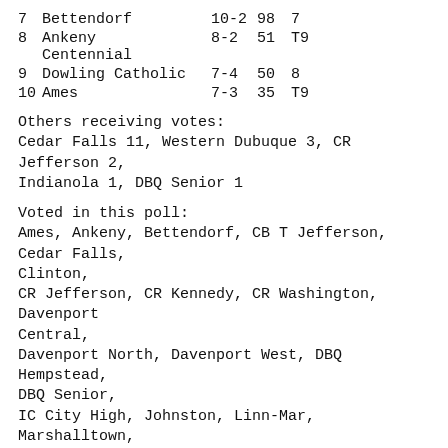| Rank | School | Record | Pts | Prev |
| --- | --- | --- | --- | --- |
| 7 | Bettendorf | 10-2 | 98 | 7 |
| 8 | Ankeny Centennial | 8-2 | 51 | T9 |
| 9 | Dowling Catholic | 7-4 | 50 | 8 |
| 10 | Ames | 7-3 | 35 | T9 |
Others receiving votes:
Cedar Falls 11, Western Dubuque 3, CR Jefferson 2, Indianola 1, DBQ Senior 1
Voted in this poll:
Ames, Ankeny, Bettendorf, CB T Jefferson, Cedar Falls, Clinton,
CR Jefferson, CR Kennedy, CR Washington, Davenport Central,
Davenport North, Davenport West, DBQ Hempstead, DBQ Senior,
IC City High, Johnston, Linn-Mar, Marshalltown, Ottumwa,
Pleasant Valley, Waukee, WDM Valley, Western Dubuque